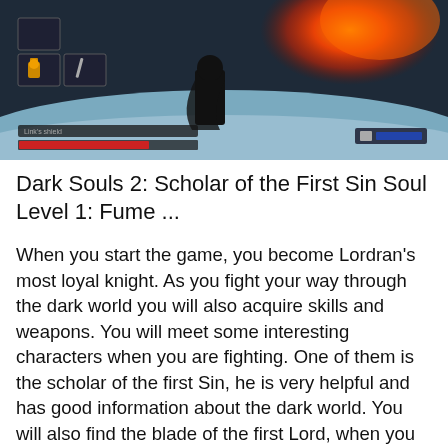[Figure (screenshot): Dark Souls 2 gameplay screenshot showing a character in a dark wintry environment with fire in the background and game UI elements including item icons and health bars]
Dark Souls 2: Scholar of the First Sin Soul Level 1: Fume ...
When you start the game, you become Lordran's most loyal knight. As you fight your way through the dark world you will also acquire skills and weapons. You will meet some interesting characters when you are fighting. One of them is the scholar of the first Sin, he is very helpful and has good information about the dark world. You will also find the blade of the first Lord, when you go to defeat the enemy boss of the game.